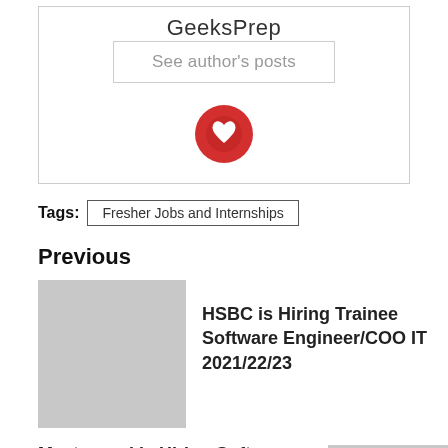GeeksPrep
See author's posts
[Figure (illustration): Red circle with white heart/location icon]
Tags: Fresher Jobs and Internships
Previous
[Figure (photo): Gray placeholder thumbnail image]
HSBC is Hiring Trainee Software Engineer/COO IT 2021/22/23
Mastercard is Hiring Software Engineer 2021/22/23
[Figure (illustration): Green back-to-top button with upward arrow, and gray placeholder thumbnail]